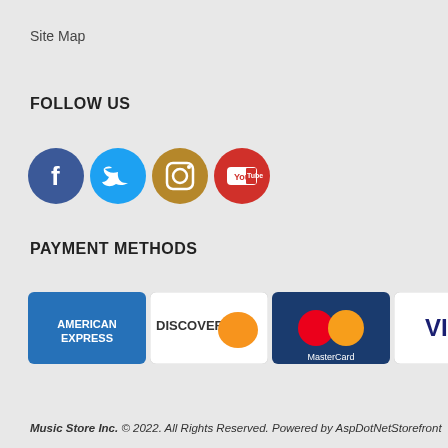Site Map
FOLLOW US
[Figure (illustration): Social media icons: Facebook (blue circle), Twitter (light blue circle), Instagram (brown/gold circle), YouTube (red circle)]
PAYMENT METHODS
[Figure (illustration): Payment method logos: American Express, Discover, MasterCard, Visa]
Music Store Inc. © 2022.  All Rights Reserved. Powered by AspDotNetStorefront